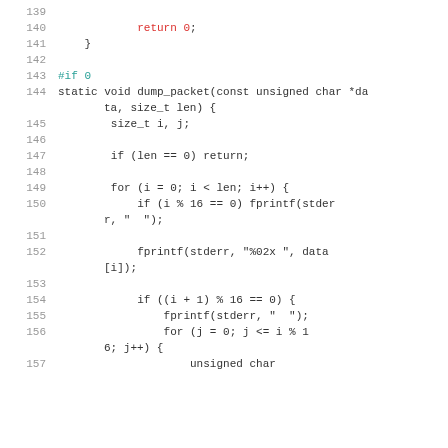[Figure (screenshot): Source code listing in C, lines 139–157, showing a function with return statement, #if 0 preprocessor block, and dump_packet function with loops and fprintf calls.]